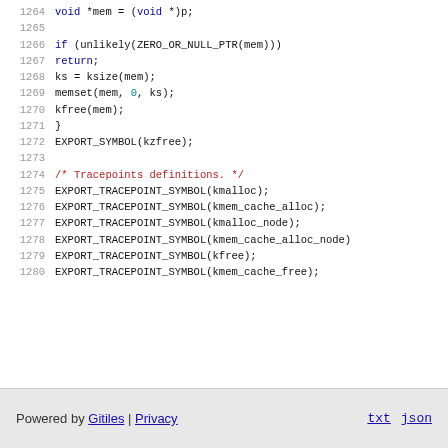Code listing lines 1264-1280: C source code showing kzfree function and tracepoint symbol exports
Powered by Gitiles | Privacy    txt  json